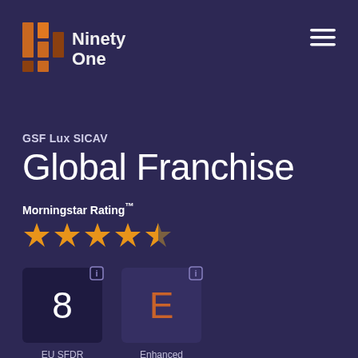[Figure (logo): Ninety One logo with orange/brown stacked bar icon and text 'Ninety One']
[Figure (other): Hamburger menu icon (three horizontal lines) in top right corner]
GSF Lux SICAV
Global Franchise
Morningstar Rating™
[Figure (other): 4 and a half star Morningstar rating displayed as orange stars (4 full, 1 partial)]
[Figure (infographic): EU SFDR badge showing number 8 in a dark purple box]
EU SFDR
[Figure (infographic): Enhanced Integration badge showing letter E in orange in a medium purple box]
Enhanced Integration